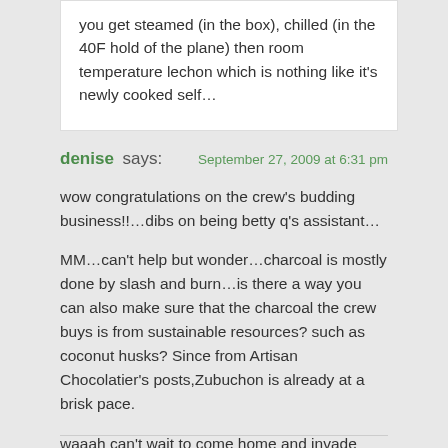you get steamed (in the box), chilled (in the 40F hold of the plane) then room temperature lechon which is nothing like it's newly cooked self…
denise says:
September 27, 2009 at 6:31 pm
wow congratulations on the crew's budding business!!…dibs on being betty q's assistant…
MM…can't help but wonder…charcoal is mostly done by slash and burn…is there a way you can also make sure that the charcoal the crew buys is from sustainable resources? such as coconut husks? Since from Artisan Chocolatier's posts,Zubuchon is already at a brisk pace.
waaah can't wait to come home and invade Cebu! hehe